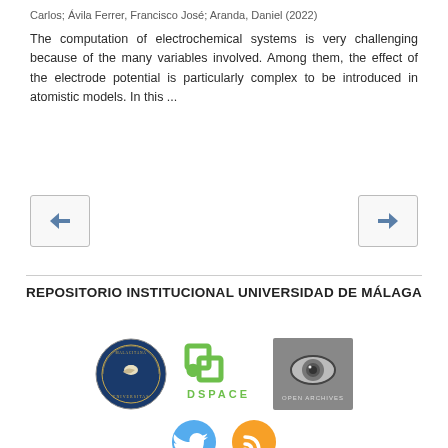Carlos; Ávila Ferrer, Francisco José; Aranda, Daniel (2022)
The computation of electrochemical systems is very challenging because of the many variables involved. Among them, the effect of the electrode potential is particularly complex to be introduced in atomistic models. In this ...
[Figure (other): Navigation buttons: left arrow and right arrow for pagination]
REPOSITORIO INSTITUCIONAL UNIVERSIDAD DE MÁLAGA
[Figure (logo): University of Málaga (Universitas Malacitanas) seal logo, DSpace logo in green, and Open Archives Initiative logo]
[Figure (logo): Twitter bird icon (blue circle) and RSS feed icon (orange circle)]